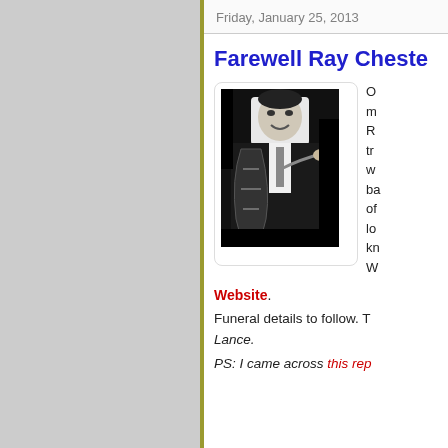Friday, January 25, 2013
Farewell Ray Cheste…
[Figure (photo): Black and white photograph of a man playing double bass, wearing a suit, smiling at the camera]
O… m… R… tr… w… ba… of… lo… kn… W…
Website.
Funeral details to follow. T… Lance.
PS: I came across this rep…